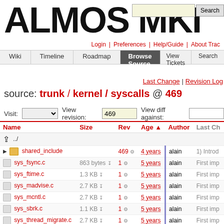ALMOS MKI - source browser - Trac
Login | Preferences | Help/Guide | About Trac
Wiki | Timeline | Roadmap | Browse Source | View Tickets | Search
Last Change | Revision Log
source: trunk / kernel / syscalls @ 469
Visit: [dropdown] View revision: 469 View diff against: [input]
| Name | Size | Rev | Age | Author | Last Ch |
| --- | --- | --- | --- | --- | --- |
| ../ |  |  |  |  |  |
| shared_include |  | 469 | 4 years | alain | 1) Introd |
| sys_fsync.c | 863 bytes | 1 | 5 years | alain | First imp |
| sys_ftime.c | 1.3 KB | 1 | 5 years | alain | First imp |
| sys_madvise.c | 2.7 KB | 1 | 5 years | alain | First imp |
| sys_mcntl.c | 2.7 KB | 1 | 5 years | alain | First imp |
| sys_sbrk.c | 1.1 KB | 1 | 5 years | alain | First imp |
| sys_thread_migrate.c | 2.7 KB | 1 | 5 years | alain | First imp |
| sys_times.c | 1.4 KB | 1 | 5 years | alain | First imp |
| sys_getpid.c | 931 bytes | 23 | 5 years | alain | Introduc |